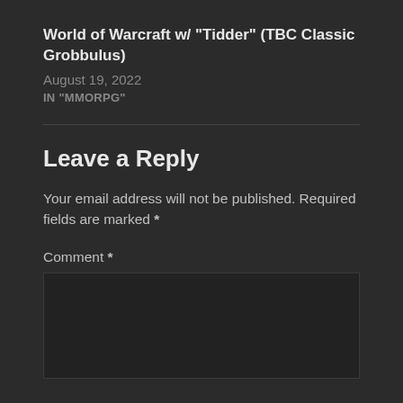World of Warcraft w/ "Tidder" (TBC Classic Grobbulus)
August 19, 2022
IN "MMORPG"
Leave a Reply
Your email address will not be published. Required fields are marked *
Comment *